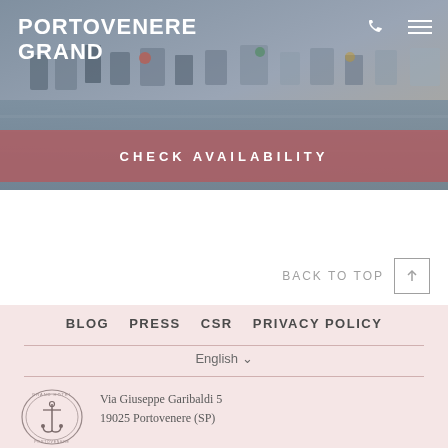[Figure (photo): Aerial/harbour photo of Portovenere with boats and water as background header image]
PORTOVENERE GRAND
CHECK AVAILABILITY
BACK TO TOP ↑
BLOG   PRESS   CSR   PRIVACY POLICY
English ∨
[Figure (logo): Grand Hotel Portovenere circular logo with anchor]
Via Giuseppe Garibaldi 5
19025 Portovenere (SP)

T: tel:+390187777751
E: info@portoveneregrand.com